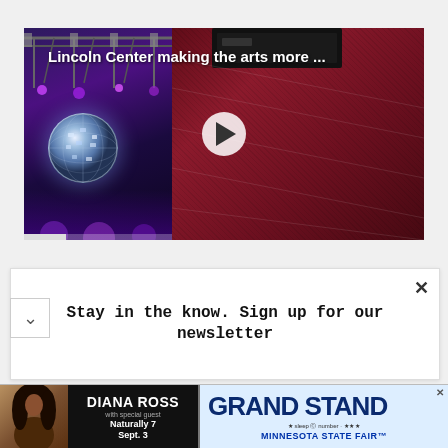[Figure (screenshot): Video thumbnail showing Lincoln Center accessibility story. Left half: disco ball with purple stage lighting. Right half: person in dark maroon/burgundy jacket with device. Play button overlay in center. Title text overlaid: 'Lincoln Center making the arts more ...']
Stay in the know. Sign up for our newsletter
[Figure (photo): Advertisement banner: Diana Ross 'Naturally 7' Sept. 3 at the Grand Stand, Minnesota State Fair]